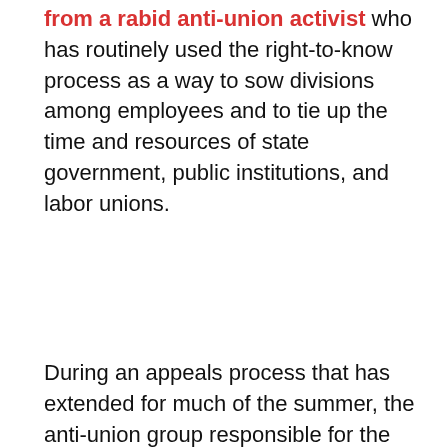from a rabid anti-union activist who has routinely used the right-to-know process as a way to sow divisions among employees and to tie up the time and resources of state government, public institutions, and labor unions.
During an appeals process that has extended for much of the summer, the anti-union group responsible for the request has continuously and singled-out and targeted Raging Chicken